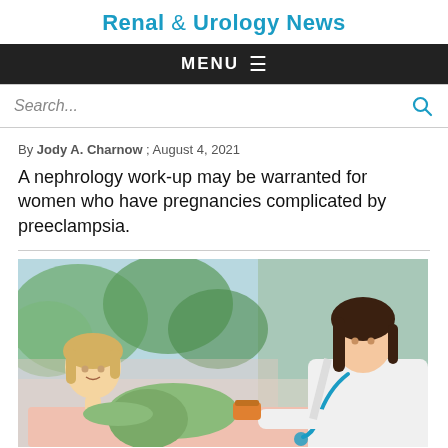Renal & Urology News
MENU
Search...
By Jody A. Charnow ; August 4, 2021
A nephrology work-up may be warranted for women who have pregnancies complicated by preeclampsia.
[Figure (photo): Pregnant woman in green shirt reclining on examination table talking with female doctor in white coat holding a pill bottle; window with trees visible in background]